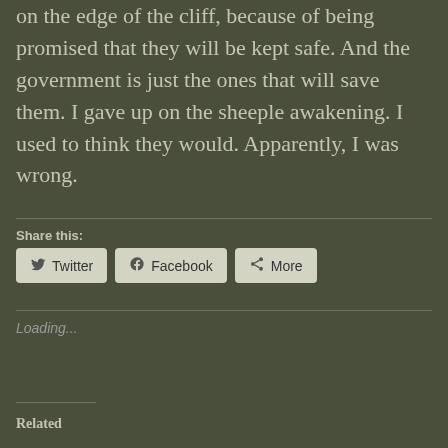on the edge of the cliff, because of being promised that they will be kept safe. And the government is just the ones that will save them. I gave up on the sheeple awakening. I used to think they would. Apparently, I was wrong.
Share this:
[Figure (other): Social share buttons: Twitter, Facebook, More]
Loading...
Related